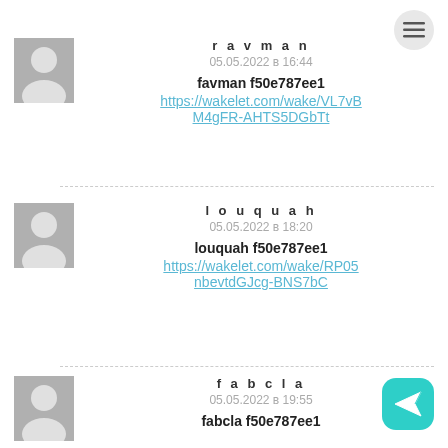[Figure (other): Hamburger menu button, top right corner]
favman
05.05.2022 в 16:44
favman f50e787ee1
https://wakelet.com/wake/VL7vBM4gFR-AHTS5DGbTt
louquah
05.05.2022 в 18:20
louquah f50e787ee1
https://wakelet.com/wake/RP05nbevtdGJcg-BNS7bC
fabcla
05.05.2022 в 19:55
fabcla f50e787ee1
[Figure (other): Send/share button (teal arrow icon), bottom right corner]